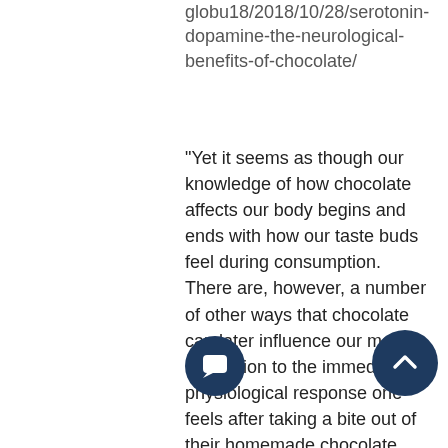globu18/2018/10/28/serotonin-dopamine-the-neurological-benefits-of-chocolate/
"Yet it seems as though our knowledge of how chocolate affects our body begins and ends with how our taste buds feel during consumption. There are, however, a number of other ways that chocolate can later influence our mood in addition to the immediate physiological response one feels after taking a bite out of their homemade chocolate cake. One of the ways that chocolate is able to accomplish such a task is through the help of serotonin. Serotonin is a chemical that nerve cells produce to communicate in the brain. Serotonin is known as a "natural mo... and further text continues